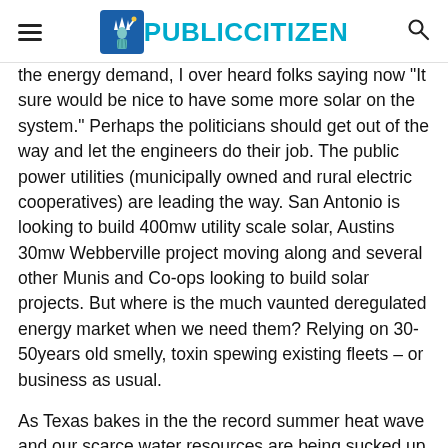PUBLICCITIZEN
the energy demand, I over heard folks saying now "It sure would be nice to have some more solar on the system." Perhaps the politicians should get out of the way and let the engineers do their job.   The public power utilities (municipally owned and rural electric cooperatives) are leading the way.  San Antonio is looking to build 400mw utility scale solar, Austins 30mw Webberville project moving along and several other Munis and Co-ops looking to build solar projects.  But where is the much vaunted deregulated energy market when we need them?  Relying on 30-50years old smelly, toxin spewing existing fleets – or business as usual.
As Texas bakes in the the record summer heat wave and our scarce water resources are being sucked up by traditional power plants ( a typical coal plant can use 10 million gallons of water a day) low impact non